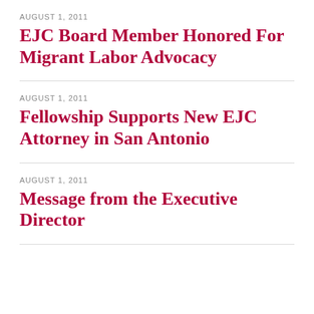AUGUST 1, 2011
EJC Board Member Honored For Migrant Labor Advocacy
AUGUST 1, 2011
Fellowship Supports New EJC Attorney in San Antonio
AUGUST 1, 2011
Message from the Executive Director